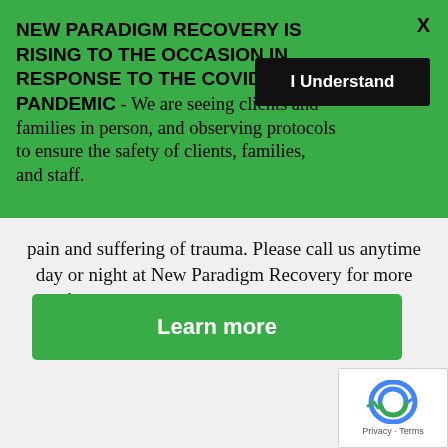NEW PARADIGM RECOVERY IS RISING TO THE OCCASION IN RESPONSE TO THE COVID-19 PANDEMIC - We are seeing clients and families in person, and observing protocols to ensure the safety of clients, families, and staff.
I Understand
pain and suffering of trauma. Please call us anytime day or night at New Paradigm Recovery for more information on our trauma recovery treatment program.
Learn more